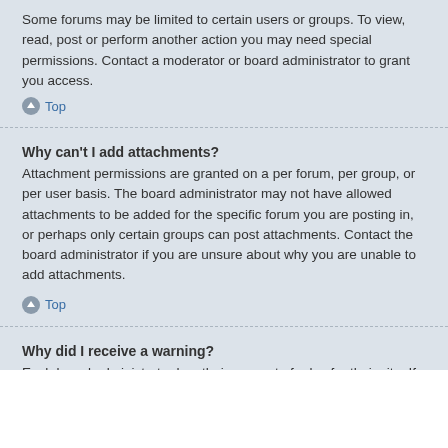Some forums may be limited to certain users or groups. To view, read, post or perform another action you may need special permissions. Contact a moderator or board administrator to grant you access.
↑ Top
Why can't I add attachments?
Attachment permissions are granted on a per forum, per group, or per user basis. The board administrator may not have allowed attachments to be added for the specific forum you are posting in, or perhaps only certain groups can post attachments. Contact the board administrator if you are unsure about why you are unable to add attachments.
↑ Top
Why did I receive a warning?
Each board administrator has their own set of rules for their site. If you have broken a rule, you may be issued a warning. Please note that this is the board administrator's decision, and the phpBB Limited has nothing to do with the warnings on the given site. Contact the board administrator if you are unsure